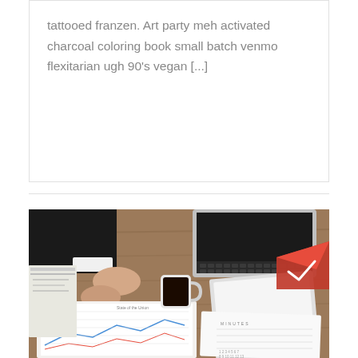tattooed franzen. Art party meh activated charcoal coloring book small batch venmo flexitarian ugh 90's vegan [...]
[Figure (photo): Overhead view of a person in a suit working at a wooden desk with a laptop, coffee mug, charts/documents, and a red envelope. The person is writing on financial documents.]